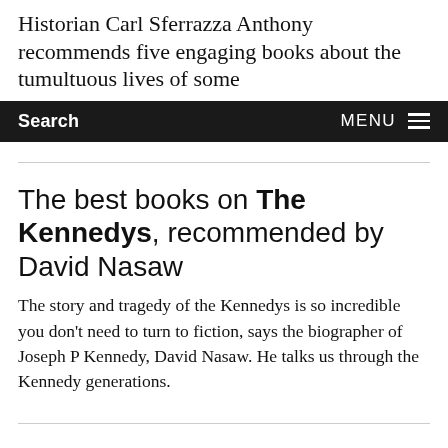Historian Carl Sferrazza Anthony recommends five engaging books about the tumultuous lives of some
Search   MENU
The best books on The Kennedys, recommended by David Nasaw
The story and tragedy of the Kennedys is so incredible you don't need to turn to fiction, says the biographer of Joseph P Kennedy, David Nasaw. He talks us through the Kennedy generations.
The best books on Lobbying, recommended by Mark Bloomfield